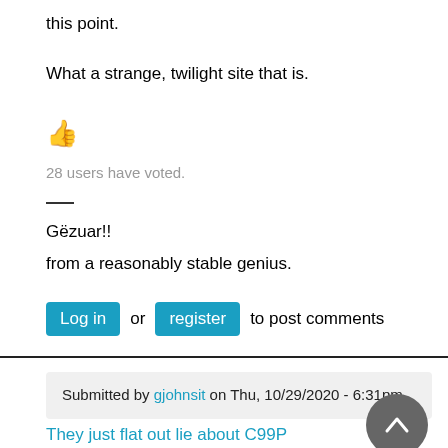this point.
What a strange, twilight site that is.
[Figure (other): Thumbs up emoji]
28 users have voted.
Gëzuar!!
from a reasonably stable genius.
Log in or register to post comments
Submitted by gjohnsit on Thu, 10/29/2020 - 6:31pm
They just flat out lie about C99P